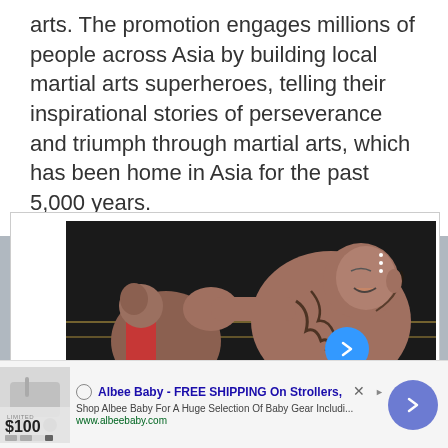arts. The promotion engages millions of people across Asia by building local martial arts superheroes, telling their inspirational stories of perseverance and triumph through martial arts, which has been home in Asia for the past 5,000 years.
[Figure (photo): Two MMA fighters in a boxing ring, one tattooed fighter punching the other. A blue circular arrow button overlaid on the right side. A progress bar at top and a 'Joe Elmore' watermark label at the bottom left of the image.]
[Figure (screenshot): Advertisement banner for Albee Baby - FREE SHIPPING On Strollers. Shows product image thumbnail on left, ad title in blue bold text, description 'Shop Albee Baby For A Huge Selection Of Baby Gear Includi...', URL www.albeebaby.com, price $100 with LIMITED label, close X button, AdChoices marker, and a circular arrow button on the right.]